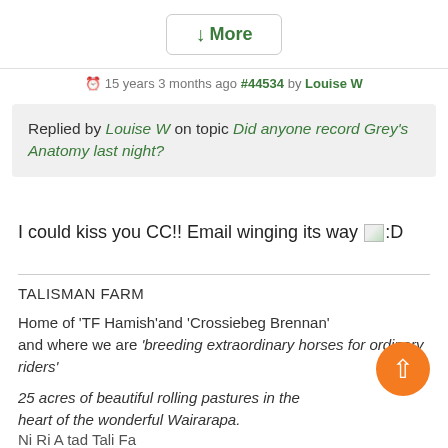↓More
15 years 3 months ago #44534 by Louise W
Replied by Louise W on topic Did anyone record Grey's Anatomy last night?
I could kiss you CC!! Email winging its way :D
TALISMAN FARM
Home of 'TF Hamish'and 'Crossiebeg Brennan' and where we are 'breeding extraordinary horses for ordinary riders'
25 acres of beautiful rolling pastures in the heart of the wonderful Wairarapa.